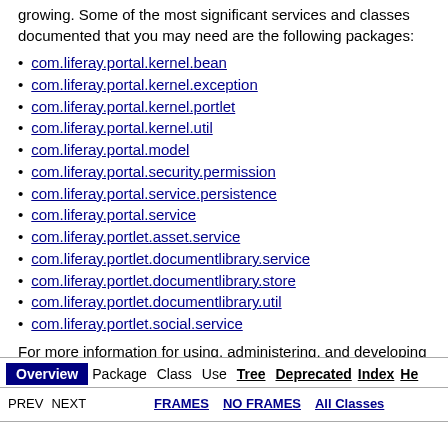growing. Some of the most significant services and classes documented that you may need are the following packages:
com.liferay.portal.kernel.bean
com.liferay.portal.kernel.exception
com.liferay.portal.kernel.portlet
com.liferay.portal.kernel.util
com.liferay.portal.model
com.liferay.portal.security.permission
com.liferay.portal.service.persistence
com.liferay.portal.service
com.liferay.portlet.asset.service
com.liferay.portlet.documentlibrary.service
com.liferay.portlet.documentlibrary.store
com.liferay.portlet.documentlibrary.util
com.liferay.portlet.social.service
For more information for using, administering, and developing using Liferay, please consult the resources found at Liferay Community Resources.
Overview Package Class Use Tree Deprecated Index He | PREV NEXT FRAMES NO FRAMES All Classes